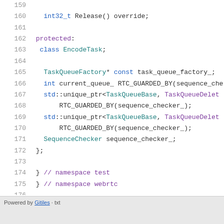159  (blank)
160    int32_t Release() override;
161  (blank)
162  protected:
163    class EncodeTask;
164  (blank)
165    TaskQueueFactory* const task_queue_factory_;
166    int current_queue_ RTC_GUARDED_BY(sequence_che
167    std::unique_ptr<TaskQueueBase, TaskQueueDelet
168        RTC_GUARDED_BY(sequence_checker_);
169    std::unique_ptr<TaskQueueBase, TaskQueueDelet
170        RTC_GUARDED_BY(sequence_checker_);
171    SequenceChecker sequence_checker_;
172  };
173  (blank)
174  }  // namespace test
175  }  // namespace webrtc
176  (blank)
177  #endif  // TEST_FAKE_ENCODER_H_
Powered by Gitiles · txt